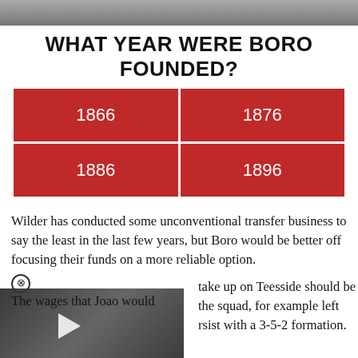[Figure (photo): Partial top image cropped at top of page]
WHAT YEAR WERE BORO FOUNDED?
| 1866 | 1876 |
| 1886 | 1896 |
Wilder has conducted some unconventional transfer business to say the least in the last few years, but Boro would be better off focusing their funds on a more reliable option.
[Figure (screenshot): Video ad overlay: Micah Richards Predicts The Premier League - GiveMeSport]
The wages that Joao would take up on Teesside should be [invested in] the squad, for example left [wing-backs would] persist with a 3-5-2 formation.